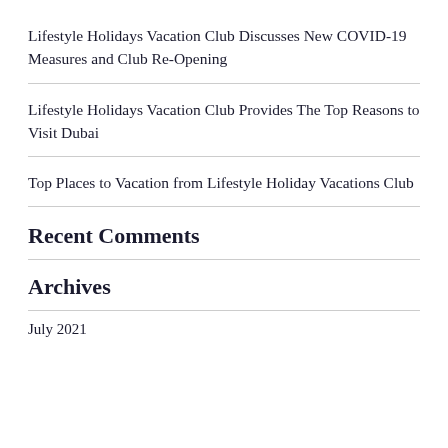Lifestyle Holidays Vacation Club Discusses New COVID-19 Measures and Club Re-Opening
Lifestyle Holidays Vacation Club Provides The Top Reasons to Visit Dubai
Top Places to Vacation from Lifestyle Holiday Vacations Club
Recent Comments
Archives
July 2021